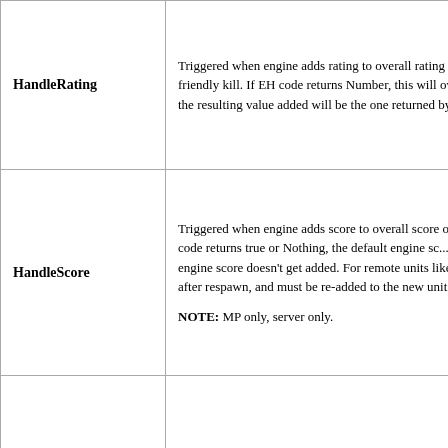| HandleRating | Triggered when engine adds rating to overall rating o... friendly kill. If EH code returns Number, this will ove... the resulting value added will be the one returned by t... |
| HandleScore | Triggered when engine adds score to overall score of... EH code returns true or Nothing, the default engine sc... engine score doesn't get added. For remote units like p... after respawn, and must be re-added to the new unit.

NOTE: MP only, server only. |
|  | Triggered when the unit is hit/damaged. |